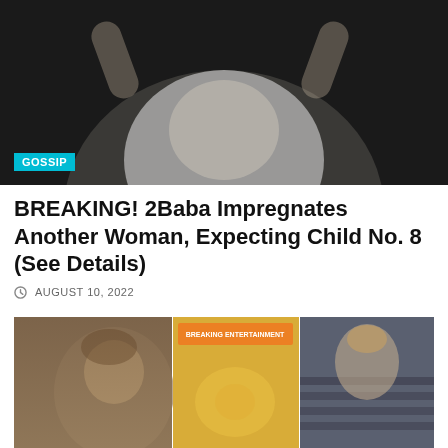[Figure (photo): Man in white shirt with black buttons and black face mask, arms raised, dark background. GOSSIP tag overlay at bottom left.]
BREAKING! 2Baba Impregnates Another Woman, Expecting Child No. 8 (See Details)
AUGUST 10, 2022
[Figure (photo): Three-panel composite image showing children and possibly the subjects of the article.]